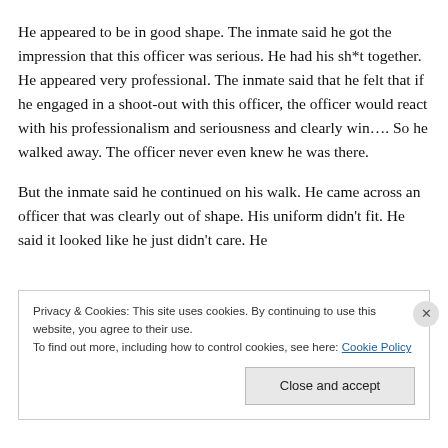He appeared to be in good shape. The inmate said he got the impression that this officer was serious. He had his sh*t together. He appeared very professional. The inmate said that he felt that if he engaged in a shoot-out with this officer, the officer would react with his professionalism and seriousness and clearly win…. So he walked away. The officer never even knew he was there.
But the inmate said he continued on his walk. He came across an officer that was clearly out of shape. His uniform didn't fit. He said it looked like he just didn't care. He
Privacy & Cookies: This site uses cookies. By continuing to use this website, you agree to their use.
To find out more, including how to control cookies, see here: Cookie Policy